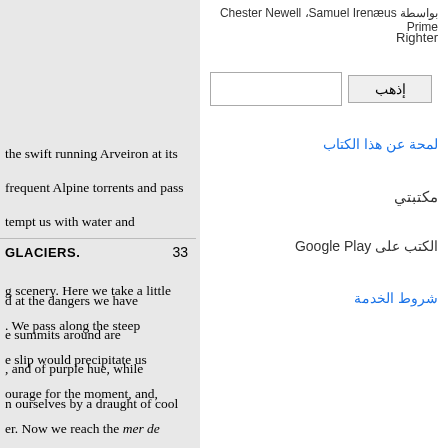بواسطة Chester Newell ،Samuel Irenæus Prime
Righter
إذهب
لمحة عن هذا الكتاب
مكتبتي
الكتب على Google Play
شروط الخدمة
the swift running Arveiron at its frequent Alpine torrents and pass tempt us with water and n in three hours we reach the g scenery. Here we take a little . We pass along the steep e slip would precipitate us ourage for the moment, and, er. Now we reach the mer de nelting snow, and waterfalls d with the roar of the water far e. Yet we advance, leaping the on of this frozen sea and reached
GLACIERS. 33
d at the dangers we have e summits around are , and of purple hue, while n ourselves by a draught of cool